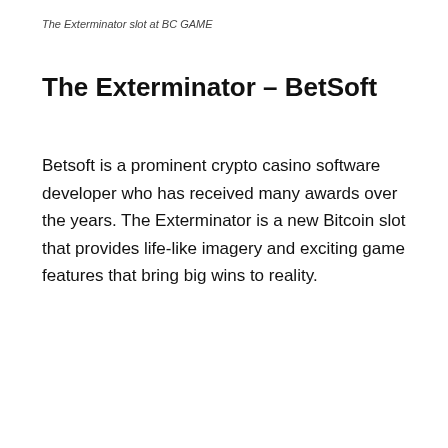The Exterminator slot at BC GAME
The Exterminator – BetSoft
Betsoft is a prominent crypto casino software developer who has received many awards over the years. The Exterminator is a new Bitcoin slot that provides life-like imagery and exciting game features that bring big wins to reality.